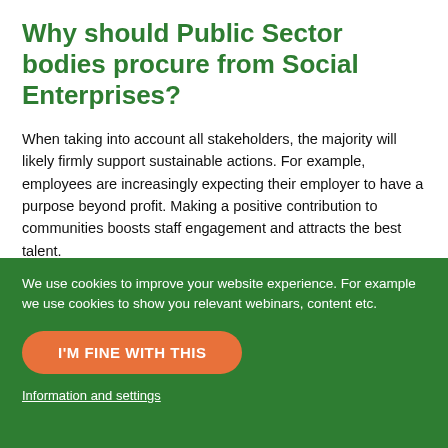Why should Public Sector bodies procure from Social Enterprises?
When taking into account all stakeholders, the majority will likely firmly support sustainable actions. For example, employees are increasingly expecting their employer to have a purpose beyond profit. Making a positive contribution to communities boosts staff engagement and attracts the best talent.
Many organisations have a budget allocated to CSR or sustainability. Using the procurement function to engage with...
We use cookies to improve your website experience. For example we use cookies to show you relevant webinars, content etc.
I'M FINE WITH THIS
Information and settings